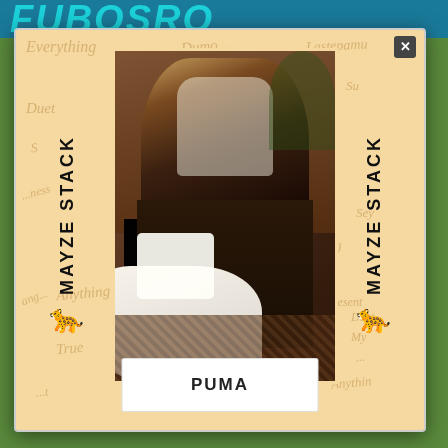FUBOSRO
[Figure (photo): Puma Mayze Stack product advertisement popup card with a woman seated wearing white Puma Mayze Stack platform sneakers with white socks, in a studio/living room setting with wood paneling and a speaker. The card has a beige/tan background with cursive script words (Everything, Quiet, Duo, Anything, True, Loud, Seen, Present, etc.) overlaid. Left and right sides feature vertical bold black text reading MAYZE STACK with a Puma cat logo.]
PUMA